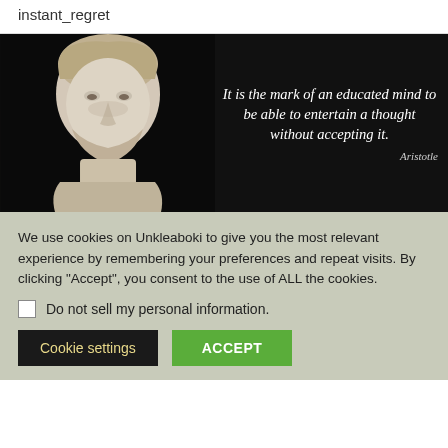instant_regret
[Figure (illustration): A marble bust of Aristotle on a black background with an italic quote: 'It is the mark of an educated mind to be able to entertain a thought without accepting it.' — Aristotle]
We use cookies on Unkleaboki to give you the most relevant experience by remembering your preferences and repeat visits. By clicking “Accept”, you consent to the use of ALL the cookies.
Do not sell my personal information.
Cookie settings
ACCEPT